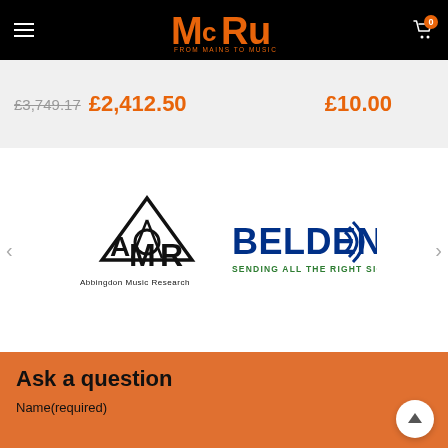MCRu - From Mains to Music
£3,749.17 £2,412.50   £10.00
[Figure (logo): AMR (Abbingdon Music Research) logo - black mountain/triangle style logo with text below]
[Figure (logo): Belden logo - blue text 'BELDEN' with blue concentric signal arcs, tagline 'SENDING ALL THE RIGHT SIGNALS' in green]
Ask a question
Name(required)